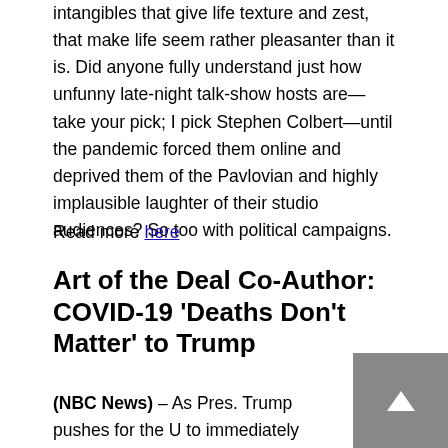intangibles that give life texture and zest, that make life seem rather pleasanter than it is. Did anyone fully understand just how unfunny late-night talk-show hosts are—take your pick; I pick Stephen Colbert—until the pandemic forced them online and deprived them of the Pavlovian and highly implausible laughter of their studio audiences? So too with political campaigns.
Read more here
Art of the Deal Co-Author: COVID-19 'Deaths Don't Matter' to Trump
(NBC News) – As Pres. Trump pushes for the U to immediately reopen despite rising death tolls